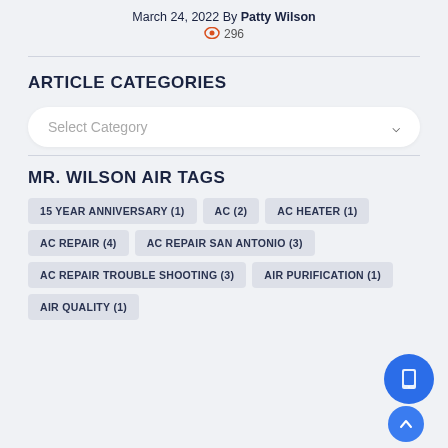March 24, 2022 By Patty Wilson
👁 296
ARTICLE CATEGORIES
Select Category
MR. WILSON AIR TAGS
15 YEAR ANNIVERSARY (1)
AC (2)
AC HEATER (1)
AC REPAIR (4)
AC REPAIR SAN ANTONIO (3)
AC REPAIR TROUBLE SHOOTING (3)
AIR PURIFICATION (1)
AIR QUALITY (1)